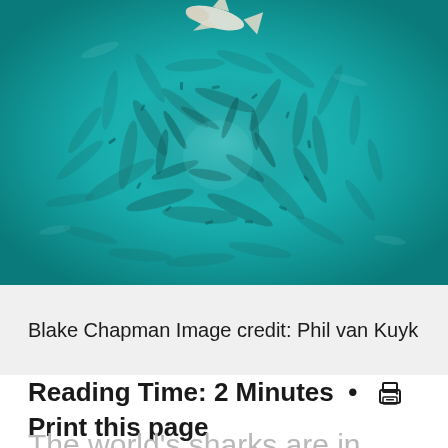[Figure (photo): Aerial or underwater view of a large school of fish swimming in turquoise/teal water, forming a circular pattern. A white shark or large fish is visible near the top center.]
Blake Chapman Image credit: Phil van Kuyk
Reading Time: 2 Minutes • Print this page
The world's sharks are in